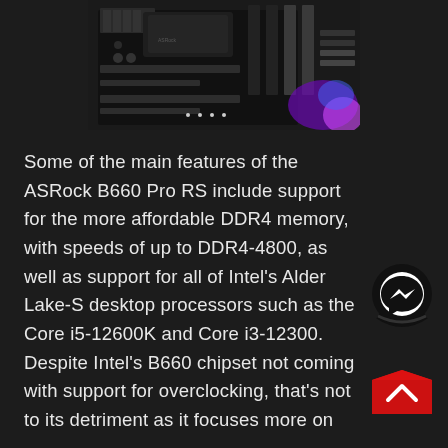[Figure (photo): Partial view of ASRock B660 Pro RS motherboard showing PCIe slots, RAM slots, and RGB lighting in the corner]
Some of the main features of the ASRock B660 Pro RS include support for the more affordable DDR4 memory, with speeds of up to DDR4-4800, as well as support for all of Intel's Alder Lake-S desktop processors such as the Core i5-12600K and Core i3-12300. Despite Intel's B660 chipset not coming with support for overclocking, that's not to its detriment as it focuses more on